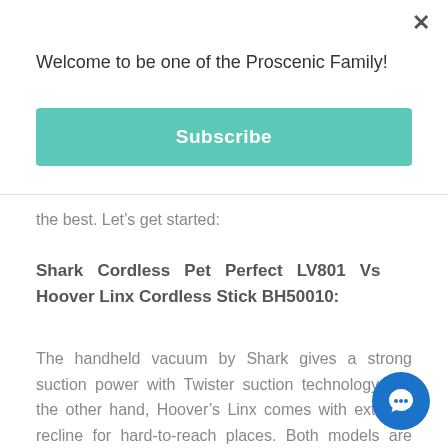Welcome to be one of the Proscenic Family!
Subscribe
the best. Let’s get started:
Shark Cordless Pet Perfect LV801 Vs Hoover Linx Cordless Stick BH50010:
The handheld vacuum by Shark gives a strong suction power with Twister suction technology. On the other hand, Hoover’s Linx comes with extreme recline for hard-to-reach places. Both models are lightweight and portable to be used on a variety of surfaces.